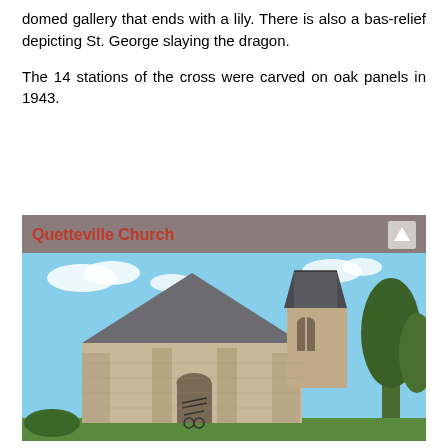domed gallery that ends with a lily. There is also a bas-relief depicting St. George slaying the dragon.
The 14 stations of the cross were carved on oak panels in 1943.
Quetteville Church
[Figure (photo): Photograph of Quetteville Church, a Romanesque stone church with a steeply pitched roof, a square bell tower with a mansard cap on the right, arched wooden entrance door with decorative ironwork, stone buttresses, and trees visible on the right side.]